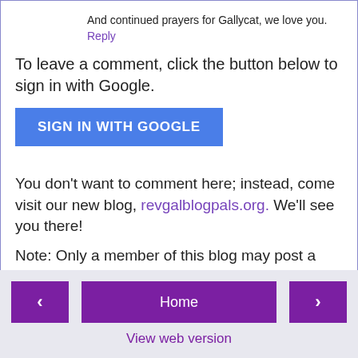And continued prayers for Gallycat, we love you.
Reply
To leave a comment, click the button below to sign in with Google.
[Figure (other): Blue 'SIGN IN WITH GOOGLE' button]
You don't want to comment here; instead, come visit our new blog, revgalblogpals.org. We'll see you there!
Note: Only a member of this blog may post a comment.
[Figure (other): Navigation bar with left arrow, Home button, and right arrow buttons, plus 'View web version' link]